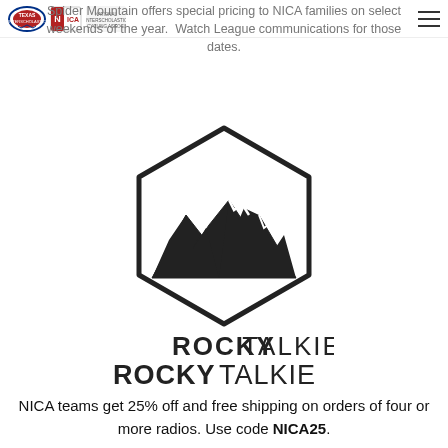[Texas NICA logo and NICA logo] [hamburger menu]
Spider Mountain offers special pricing to NICA families on select weekends of the year. Watch League communications for those dates.
[Figure (logo): Rocky Talkie logo — hexagonal mountain outline with jagged peaks and the text ROCKY TALKIE below]
NICA teams get 25% off and free shipping on orders of four or more radios. Use code NICA25.